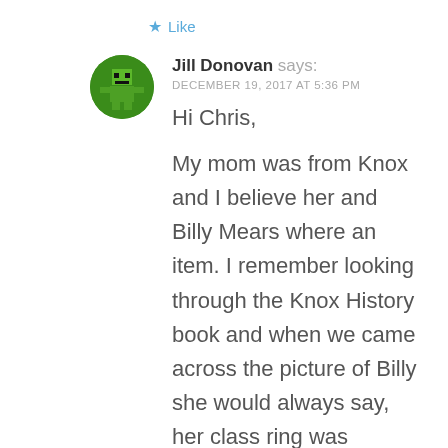Like
[Figure (illustration): Green circular avatar with a pixel-art character icon]
Jill Donovan says:
DECEMBER 19, 2017 AT 5:36 PM
Hi Chris,

My mom was from Knox and I believe her and Billy Mears where an item. I remember looking through the Knox History book and when we came across the picture of Billy she would always say, her class ring was somewhere in Germany now.